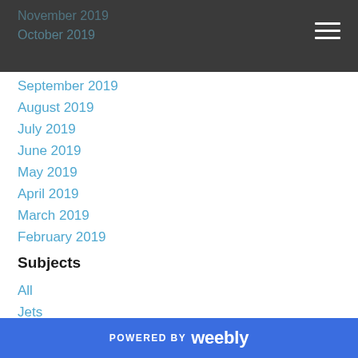November 2019
October 2019
September 2019
August 2019
July 2019
June 2019
May 2019
April 2019
March 2019
February 2019
Subjects
All
Jets
Knicks
Mlb
NBA
NFL
POWERED BY weebly